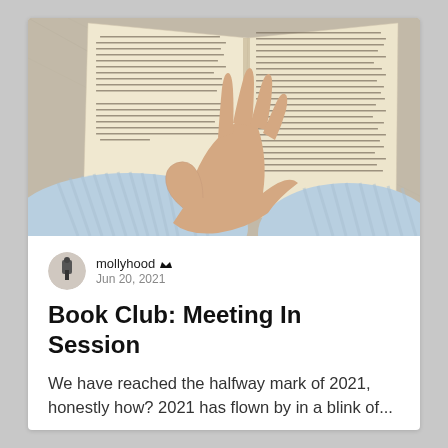[Figure (photo): A hand holding open a book, viewed from above. The person is wearing a light blue striped shirt. The book pages show dense text. The background is a linen/fabric surface.]
mollyhood  Jun 20, 2021
Book Club: Meeting In Session
We have reached the halfway mark of 2021, honestly how? 2021 has flown by in a blink of...